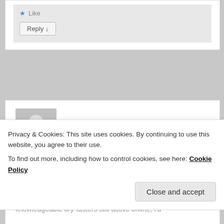[Figure (screenshot): Partial blog comment section showing a reply button and like icon at the top]
[Figure (photo): Gray placeholder avatar icon for user Hans]
Hans on January 10, 2017 at 5:10 PM said:
Hi Esmee,

Since you seem to be the only one of the knowledgeable dry-fasters still active online, I'd
Privacy & Cookies: This site uses cookies. By continuing to use this website, you agree to their use.
To find out more, including how to control cookies, see here: Cookie Policy
Close and accept